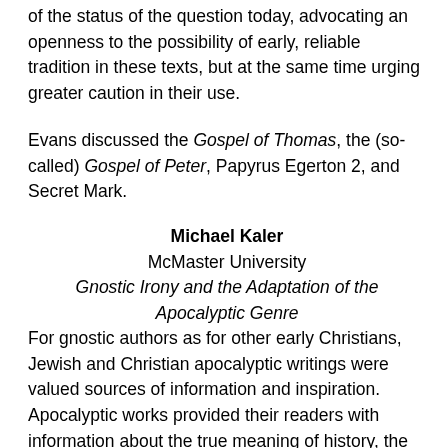of the status of the question today, advocating an openness to the possibility of early, reliable tradition in these texts, but at the same time urging greater caution in their use.
Evans discussed the Gospel of Thomas, the (so-called) Gospel of Peter, Papyrus Egerton 2, and Secret Mark.
Michael Kaler
McMaster University
Gnostic Irony and the Adaptation of the Apocalyptic Genre
For gnostic authors as for other early Christians, Jewish and Christian apocalyptic writings were valued sources of information and inspiration. Apocalyptic works provided their readers with information about the true meaning of history, the nature of the cosmos, and humanity's origins and destiny. The influence of apocalyptic works, and of the canons of the apocalyptic genre, on gnostic writings of all sorts is clear. But one of the